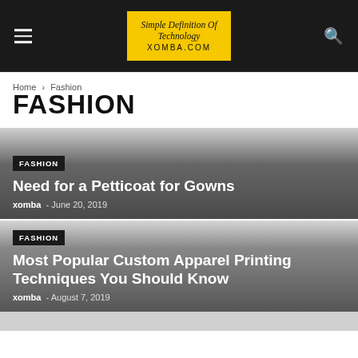Simple Definition Of Technology XOMBA.COM
Home › Fashion
FASHION
[Figure (other): Article card with dark gradient background showing FASHION tag, article title 'Need for a Petticoat for Gowns', author xomba, date June 20, 2019]
[Figure (other): Article card with dark gradient background showing FASHION tag, article title 'Most Popular Custom Apparel Printing Techniques You Should Know', author xomba, date August 7, 2019]